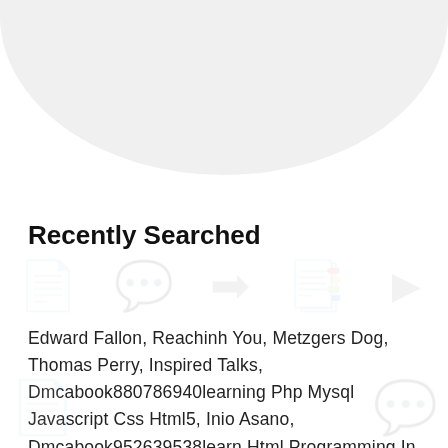Recently Searched
Edward Fallon, Reachinh You, Metzgers Dog, Thomas Perry, Inspired Talks, Dmcabook880786940learning Php Mysql Javascript Css Html5, Inio Asano, Dmcabook952639538learn Html Programming In 7 Days Ultimate Beginners Guide To Build And Design Your Own Website, Dmcaread880786940learning Php Mysql Javascript Css Html5, R Urile Din Londra, Phpinfo, The Serpents Tail By Deb Daulton, Unlawful Contact, The Glass